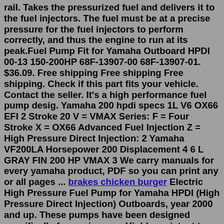rail. Takes the pressurized fuel and delivers it to the fuel injectors. The fuel must be at a precise pressure for the fuel injectors to perform correctly, and thus the engine to run at its peak.Fuel Pump Fit for Yamaha Outboard HPDI 00-13 150-200HP 68F-13907-00 68F-13907-01. $36.09. Free shipping Free shipping Free shipping. Check if this part fits your vehicle. Contact the seller. It's a high performance fuel pump desig. Yamaha 200 hpdi specs 1L V6 OX66 EFI 2 Stroke 20 V = VMAX Series: F = Four Stroke X = OX66 Advanced Fuel Injection Z = High Pressure Direct Injection: 2 Yamaha VF200LA Horsepower 200 Displacement 4 6 L GRAY FIN 200 HP VMAX 3 We carry manuals for every yamaha product, PDF so you can print any or all pages ... brakes chicken burger Electric High Pressure Fuel Pump for Yamaha HPDI (High Pressure Direct Injection) Outboards, year 2000 and up. These pumps have been designed specifically for marine use. Highly resistant to ethanol corrosion.Fits Yamaha 200-300 HPDI Outboards years 2003 and up.PleaseYamaha 175 Hp Hpdi High